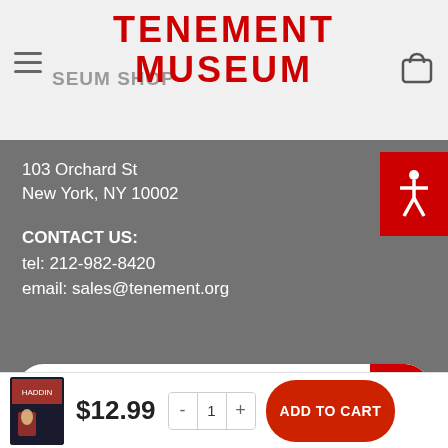TENEMENT MUSEUM — MUSEUM SHOP
103 Orchard St
New York, NY 10002
CONTACT US:
tel: 212-982-8420
email: sales@tenement.org
Search
$12.99
ADD TO CART